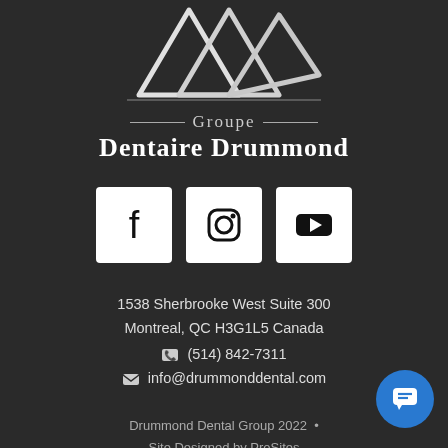[Figure (logo): Groupe Dentaire Drummond logo with white triangular shapes on dark background, with decorative horizontal lines and text 'Groupe Dentaire Drummond']
[Figure (infographic): Three white square social media icons: Facebook, Instagram, YouTube]
1538 Sherbrooke West Suite 300
Montreal, QC H3G1L5 Canada
📞 (514) 842-7311
✉ info@drummonddental.com
Drummond Dental Group 2022  •
Site Designed by ProSites